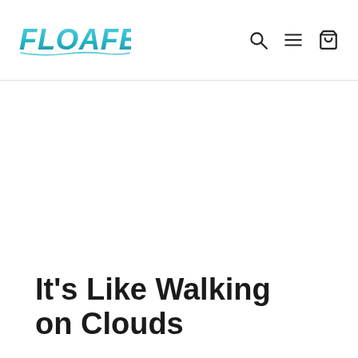FLOAFERS
It's Like Walking on Clouds